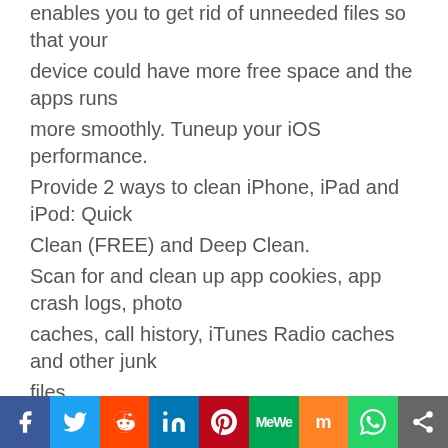enables you to get rid of unneeded files so that your device could have more free space and the apps runs more smoothly. Tuneup your iOS performance.
Provide 2 ways to clean iPhone, iPad and iPod: Quick Clean (FREE) and Deep Clean.
Scan for and clean up app cookies, app crash logs, photo caches, call history, iTunes Radio caches and other junk files.
Decide and set certain types of files to clean by your own.
All junk files can be cleaned with one click.
Clean up iPhone, iPad and iPod
Share and Manage Music, Videos, Apps without iTunes Restriction – Free
You can easily transfer files on your iPhone, iPad and iPod to PC for free. Simply connect your device with PC and all the rest can be done within several clicks.
Facebook | Twitter | Reddit | LinkedIn | Pinterest | MeWe | Mix | WhatsApp | Share